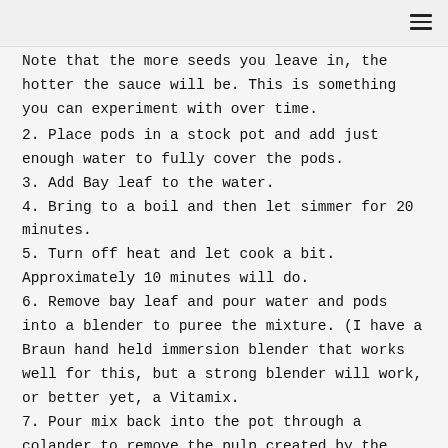Note that the more seeds you leave in, the hotter the sauce will be. This is something you can experiment with over time.
2. Place pods in a stock pot and add just enough water to fully cover the pods.
3. Add Bay leaf to the water.
4. Bring to a boil and then let simmer for 20 minutes.
5. Turn off heat and let cook a bit. Approximately 10 minutes will do.
6. Remove bay leaf and pour water and pods into a blender to puree the mixture. (I have a Braun hand held immersion blender that works well for this, but a strong blender will work, or better yet, a Vitamix.
7. Pour mix back into the pot through a colander to remove the pulp created by the skin.
8. To the sauce in the pot add the cumin, oregano, garlic